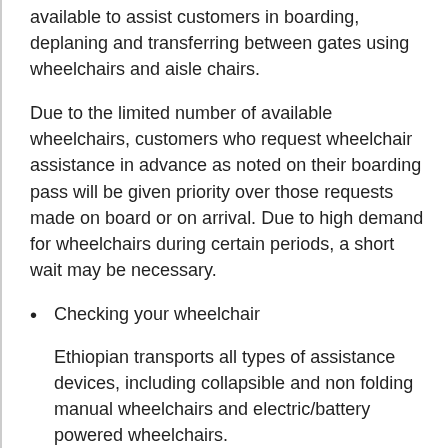available to assist customers in boarding, deplaning and transferring between gates using wheelchairs and aisle chairs.
Due to the limited number of available wheelchairs, customers who request wheelchair assistance in advance as noted on their boarding pass will be given priority over those requests made on board or on arrival. Due to high demand for wheelchairs during certain periods, a short wait may be necessary.
Checking your wheelchair
Ethiopian transports all types of assistance devices, including collapsible and non folding manual wheelchairs and electric/battery powered wheelchairs.